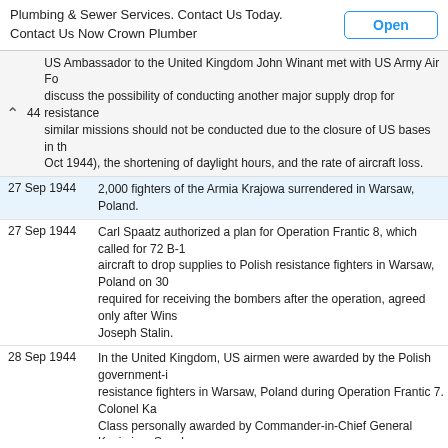[Figure (screenshot): Advertisement bar: 'Plumbing & Sewer Services. Contact Us Today. Contact Us Now Crown Plumber' with an 'Open' button]
44 US Ambassador to the United Kingdom John Winant met with US Army Air Force to discuss the possibility of conducting another major supply drop for resistance. Similar missions should not be conducted due to the closure of US bases in the area (Oct 1944), the shortening of daylight hours, and the rate of aircraft loss.
27 Sep 1944 2,000 fighters of the Armia Krajowa surrendered in Warsaw, Poland.
27 Sep 1944 Carl Spaatz authorized a plan for Operation Frantic 8, which called for 72 B-17 aircraft to drop supplies to Polish resistance fighters in Warsaw, Poland on 30 Sep... required for receiving the bombers after the operation, agreed only after Winston... Joseph Stalin.
28 Sep 1944 In the United Kingdom, US airmen were awarded by the Polish government-in-exile for resistance fighters in Warsaw, Poland during Operation Frantic 7. Colonel Ka... Class personally awarded by Commander-in-Chief General Kazimierz Sosnk... Cross of Valor.
28 Sep 1944 The Polish underground political group Council of National Unity sent another message to and Franklin Roosevelt requesting supply drops and air strikes on German po...
30 Sep 1944 Operation Frantic 8, a USAAF air mission to supply Polish resistance fighters... postponed to 1 Oct 1944.
1 Oct 1944 General Tadeusz Komorowski sent a message to the Polish military leadership... that he had made the decision to lay down arms as his resistance fighters we... fighting.
1 Oct 1944 Operation Frantic 8, a USAAF air mission to supply Polish resistance fighters... postponed to 2 Oct 1944 due to weather.
2 Oct 1944 Operation Frantic 8, a USAAF air mission to supply Polish resistance fighters... postponed to 3 Oct 1944 due to weather. Meanwhile, the Soviet Union sent th... that the Soviets had evacuated a large number of Polish resistance fighters fr... mission would not be necessary.
2 Oct 1944 The Warsaw Uprising ended in failure after 63 days of fighting largely due to l... and 200,000 civilians were killed, while the German occupation forces suffere... in the fighting.
4 Oct 1944 Carl Spaatz announced that USAAF's Frantic operations would no longer invo... resistance fighters.